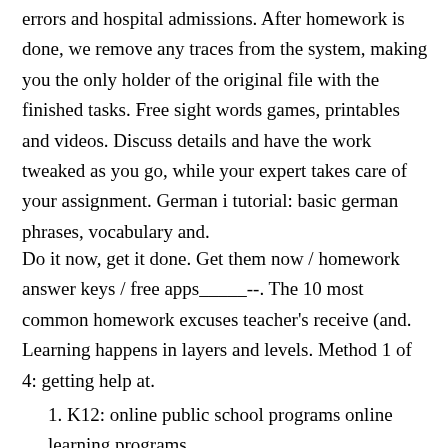errors and hospital admissions. After homework is done, we remove any traces from the system, making you the only holder of the original file with the finished tasks. Free sight words games, printables and videos. Discuss details and have the work tweaked as you go, while your expert takes care of your assignment. German i tutorial: basic german phrases, vocabulary and.
Do it now, get it done. Get them now / homework answer keys / free apps_____--. The 10 most common homework excuses teacher's receive (and. Learning happens in layers and levels. Method 1 of 4: getting help at.
1. K12: online public school programs online learning programs.